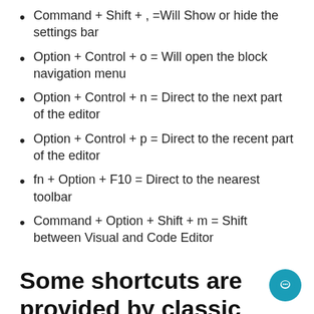Command + Shift + , =Will Show or hide the settings bar
Option + Control + o = Will open the block navigation menu
Option + Control + n = Direct to the next part of the editor
Option + Control + p = Direct to the recent part of the editor
fn + Option + F10 = Direct to the nearest toolbar
Command + Option + Shift + m = Shift between Visual and Code Editor
Some shortcuts are provided by classic WordPress editor for